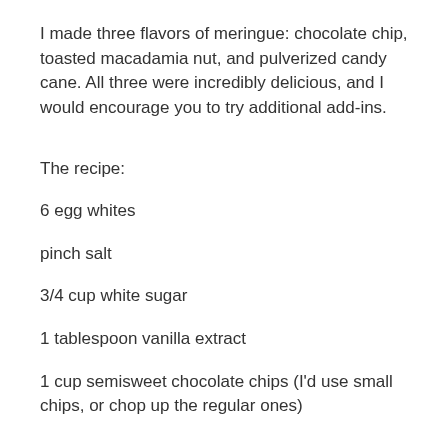I made three flavors of meringue: chocolate chip, toasted macadamia nut, and pulverized candy cane. All three were incredibly delicious, and I would encourage you to try additional add-ins.
The recipe:
6 egg whites
pinch salt
3/4 cup white sugar
1 tablespoon vanilla extract
1 cup semisweet chocolate chips (I'd use small chips, or chop up the regular ones)